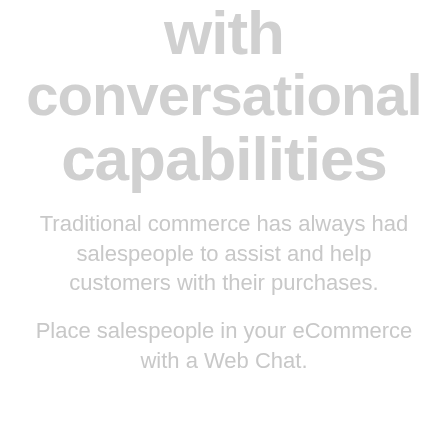with conversational capabilities
Traditional commerce has always had salespeople to assist and help customers with their purchases.
Place salespeople in your eCommerce with a Web Chat.